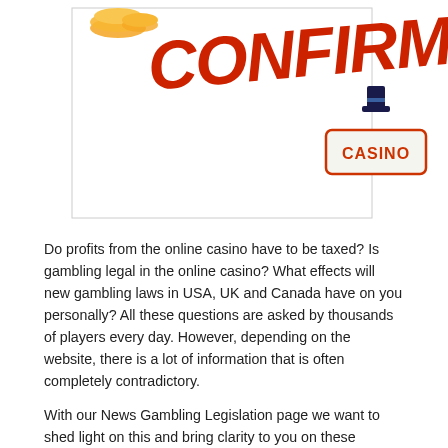[Figure (illustration): Banner image showing coins and the word CONFIRM in large red text on the left side, and a casino logo with a top hat on the right side, on a white background.]
Do profits from the online casino have to be taxed? Is gambling legal in the online casino? What effects will new gambling laws in USA, UK and Canada have on you personally? All these questions are asked by thousands of players every day. However, depending on the website, there is a lot of information that is often completely contradictory.
With our News Gambling Legislation page we want to shed light on this and bring clarity to you on these important issues. Here you will find all relevant topics quickly, neatly researched and, above all, prepared in understandable text.
Our News Gambling Legislation area not only deals with online casinos, but also with all important developments in the area of gaming in USA, UK and Canada. Always be well informed and never let an X be shown for a U again. You can find all the information you need to gamble safely in our Gambling News legislation.